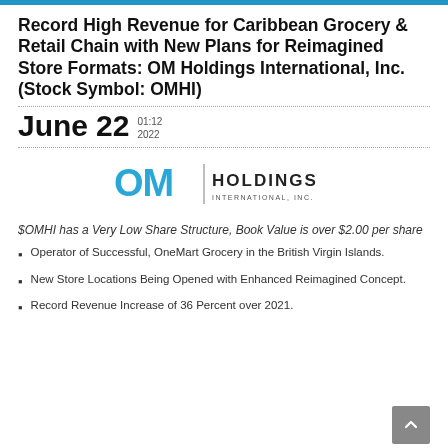Record High Revenue for Caribbean Grocery & Retail Chain with New Plans for Reimagined Store Formats: OM Holdings International, Inc. (Stock Symbol: OMHI)
June 22  01:12 2022
[Figure (logo): OM Holdings International Inc. logo with cyan OM text and vertical bar followed by HOLDINGS INTERNATIONAL, INC. text]
$OMHI has a Very Low Share Structure, Book Value is over $2.00 per share
Operator of Successful, OneMart Grocery in the British Virgin Islands.
New Store Locations Being Opened with Enhanced Reimagined Concept.
Record Revenue Increase of 36 Percent over 2021.